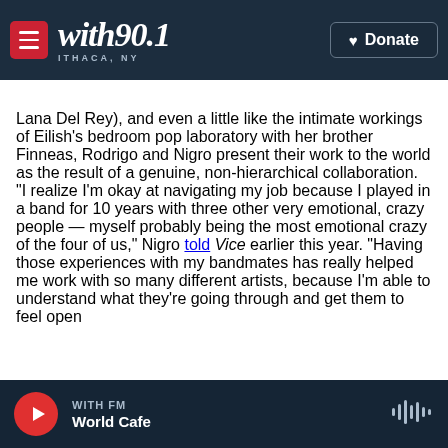with90.1 ITHACA, NY — Donate
Lana Del Rey), and even a little like the intimate workings of Eilish's bedroom pop laboratory with her brother Finneas, Rodrigo and Nigro present their work to the world as the result of a genuine, non-hierarchical collaboration. "I realize I'm okay at navigating my job because I played in a band for 10 years with three other very emotional, crazy people — myself probably being the most emotional crazy of the four of us," Nigro told Vice earlier this year. "Having those experiences with my bandmates has really helped me work with so many different artists, because I'm able to understand what they're going through and get them to feel open
WITH FM — World Cafe